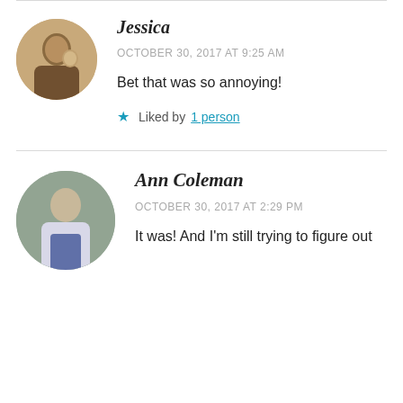[Figure (photo): Circular avatar photo of Jessica, a black-and-white/sepia portrait of a woman holding a child]
Jessica
OCTOBER 30, 2017 AT 9:25 AM
Bet that was so annoying!
Liked by 1 person
[Figure (photo): Circular avatar photo of Ann Coleman, a person in a white shirt standing outdoors]
Ann Coleman
OCTOBER 30, 2017 AT 2:29 PM
It was! And I'm still trying to figure out